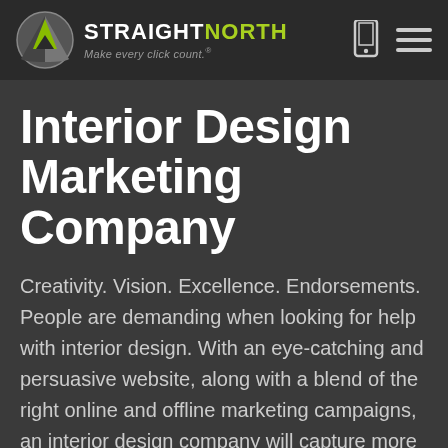[Figure (logo): Straight North logo with green triangle icon and tagline 'Make every click count.']
Interior Design Marketing Company
Creativity. Vision. Excellence. Endorsements. People are demanding when looking for help with interior design. With an eye-catching and persuasive website, along with a blend of the right online and offline marketing campaigns, an interior design company will capture more attention — and clients.